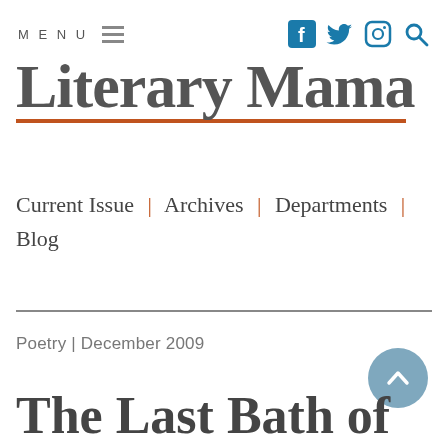MENU
Literary Mama
Current Issue | Archives | Departments | Blog
Poetry | December 2009
The Last Bath of the